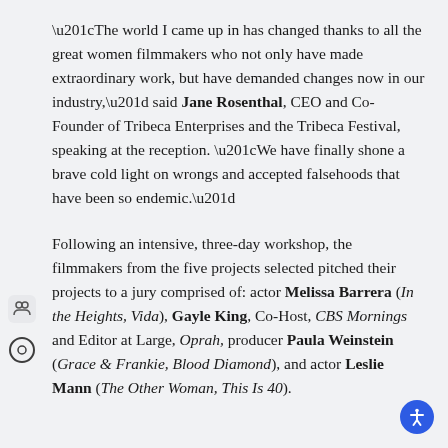“The world I came up in has changed thanks to all the great women filmmakers who not only have made extraordinary work, but have demanded changes now in our industry,” said Jane Rosenthal, CEO and Co-Founder of Tribeca Enterprises and the Tribeca Festival, speaking at the reception. “We have finally shone a brave cold light on wrongs and accepted falsehoods that have been so endemic.”
Following an intensive, three-day workshop, the filmmakers from the five projects selected pitched their projects to a jury comprised of: actor Melissa Barrera (In the Heights, Vida), Gayle King, Co-Host, CBS Mornings and Editor at Large, Oprah, producer Paula Weinstein (Grace & Frankie, Blood Diamond), and actor Leslie Mann (The Other Woman, This Is 40).